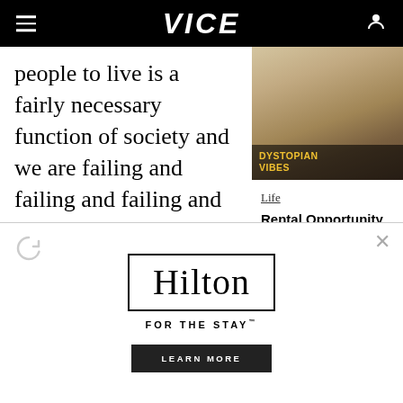VICE
people to live is a fairly necessary function of society and we are failing and failing and failing and nobody is holding the people failing us accountable at all. Every renter is simply told to “work harder” and buy
[Figure (photo): Photo of a beige/cream sofa in a room with a label 'DYSTOPIAN VIBES']
Life
Rental Opportunity of the Week: A Hellish Flat Perfect for These Dystopian Ti...
[Figure (logo): Hilton hotel advertisement with logo, tagline 'FOR THE STAY' and 'LEARN MORE' button]